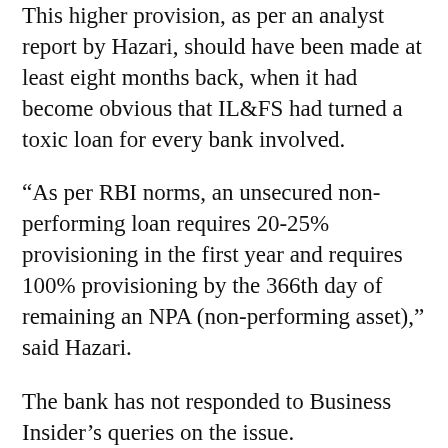This higher provision, as per an analyst report by Hazari, should have been made at least eight months back, when it had become obvious that IL&FS had turned a toxic loan for every bank involved.
“As per RBI norms, an unsecured non-performing loan requires 20-25% provisioning in the first year and requires 100% provisioning by the 366th day of remaining an NPA (non-performing asset),” said Hazari.
The bank has not responded to Business Insider’s queries on the issue.
In the second quarter analyst call, the managing director of the bank Ramesh Sobti had assured them saying, “So the best case scenario of course is that we don’t even provide this and we write it back and that scenario is equally possible. The scenario is possible that you make